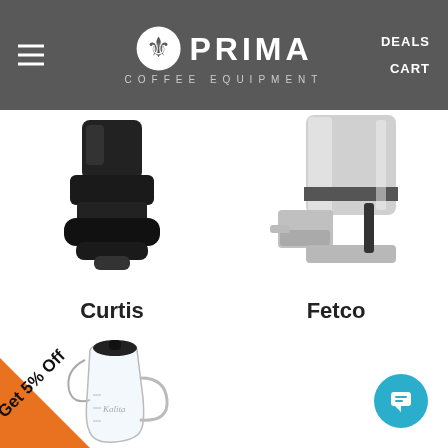Prima Coffee Equipment | DEALS | CART
[Figure (photo): Curtis coffee brewer bottom component, black, close-up product photo]
[Figure (photo): Fetco coffee brewer bottom component, stainless steel, close-up product photo with dispenser]
Curtis
Fetco
[Figure (photo): Kalita glass coffee server/carafe with black lid, clear glass body with measurement markings]
Get 5% Off
[Figure (other): Teal circular chat support button with speech bubble icon]